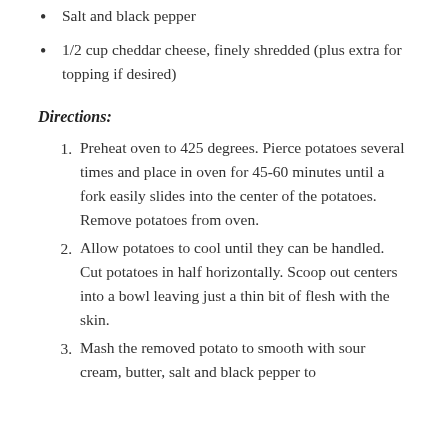Salt and black pepper
1/2 cup cheddar cheese, finely shredded (plus extra for topping if desired)
Directions:
Preheat oven to 425 degrees. Pierce potatoes several times and place in oven for 45-60 minutes until a fork easily slides into the center of the potatoes. Remove potatoes from oven.
Allow potatoes to cool until they can be handled. Cut potatoes in half horizontally. Scoop out centers into a bowl leaving just a thin bit of flesh with the skin.
Mash the removed potato to smooth with sour cream, butter, salt and black pepper to